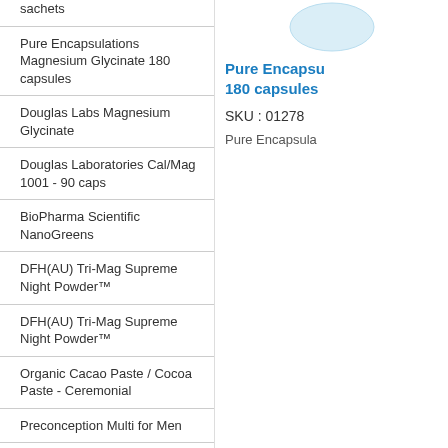sachets
Pure Encapsulations Magnesium Glycinate 180 capsules
Douglas Labs Magnesium Glycinate
Douglas Laboratories Cal/Mag 1001 - 90 caps
BioPharma Scientific NanoGreens
DFH(AU) Tri-Mag Supreme Night Powder™
DFH(AU) Tri-Mag Supreme Night Powder™
Organic Cacao Paste / Cocoa Paste - Ceremonial
Preconception Multi for Men
Adrenal Recovery &
[Figure (illustration): Oval/circular product image placeholder in light blue]
Pure Encapsulations Magnesium Glycinate 180 capsules
SKU : 01278
Pure Encapsula